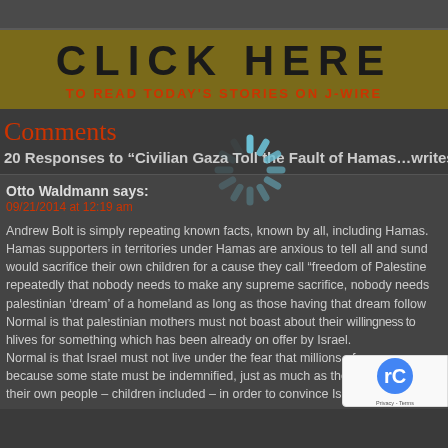[Figure (screenshot): Top navigation/browser bar area, dark gray]
[Figure (infographic): J-Wire banner with 'CLICK HERE' in large bold text and 'TO READ TODAY'S STORIES ON J-WIRE' in red below, on olive/dark yellow background]
Comments
20 Responses to "Civilian Gaza Toll the Fault of Hamas…writes Andrew B
Otto Waldmann says:
09/21/2014 at 12:19 am
Andrew Bolt is simply repeating known facts, known by all, including Hamas. Hamas supporters in territories under Hamas are anxious to tell all and sund would sacrifice their own children for a cause they call "freedom of Palestine repeatedly that nobody needs to make any supreme sacrifice, nobody needs palestinian 'dream' of a homeland as long as those having that dream follow Normal is that palestinian mothers must not boast about their willingness to lives for something which has been already on offer by Israel. Normal is that Israel must not live under the fear that millions of because some state must be indemnified, just as much as the p their own people – children included – in order to convince Israel, and he